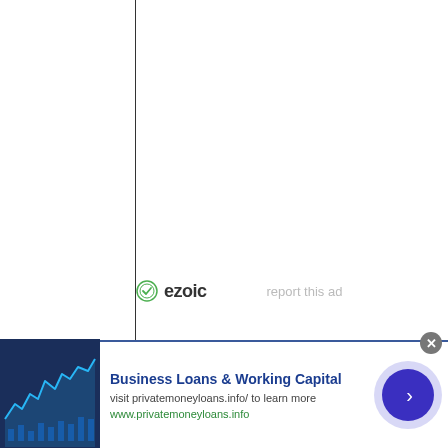[Figure (other): Ezoic ad placeholder area with vertical dividing line on left side and ezoic logo with 'report this ad' text]
[Figure (infographic): Advertisement banner: Business Loans & Working Capital. Visit privatemoneyloans.info/ to learn more. www.privatemoneyloans.info. Features a financial chart image on the left and a blue circular arrow button on the right.]